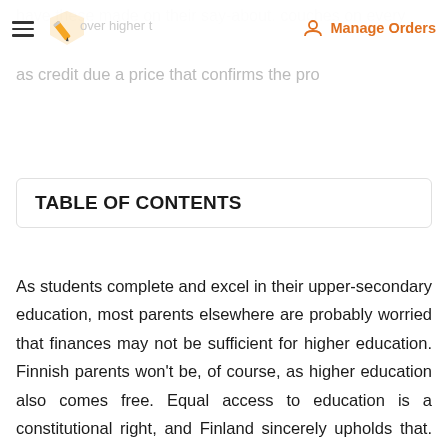Manage Orders
TABLE OF CONTENTS
As students complete and excel in their upper-secondary education, most parents elsewhere are probably worried that finances may not be sufficient for higher education. Finnish parents won't be, of course, as higher education also comes free. Equal access to education is a constitutional right, and Finland sincerely upholds that. Students only need to pay for transportation, books, and other necessary school supplies. If even that cannot be possible, student financial aid is readily made available.